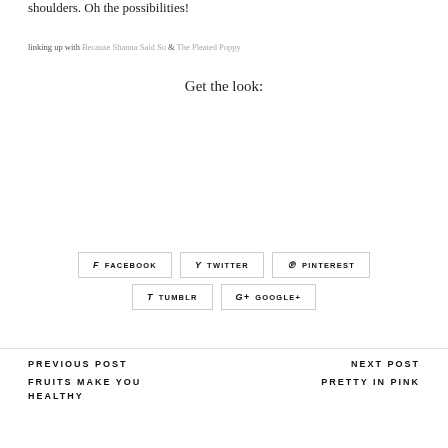shoulders. Oh the possibilities!
linking up with Because Shanna Said So & The Pleated Poppy
Get the look:
FACEBOOK TWITTER PINTEREST TUMBLR GOOGLE+
PREVIOUS POST
FRUITS MAKE YOU HEALTHY
NEXT POST
PRETTY IN PINK